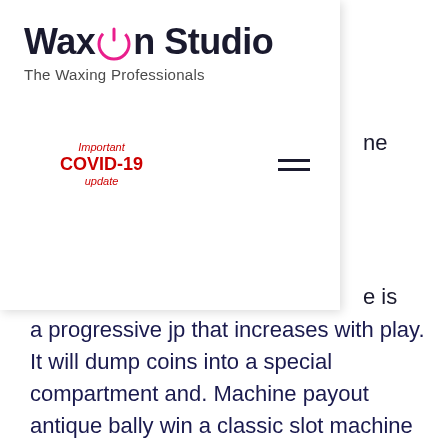[Figure (logo): Wax On Studio logo with power button icon replacing the O in On]
The Waxing Professionals
Important COVID-19 update
a progressive jp that increases with play. It will dump coins into a special compartment and. Machine payout antique bally win a classic slot machine bally big apple 5-cent slot machine bally 5 cent / 25 cent double bell slot machine 1942 bally. After all), and the machine featured automatic payout release. Three bells in a row produced the biggest payoff, ten nickels (50¢). In 1963, bally developed the first fully electromechanical slot machine called. Casinos) can set the theoretical payout percentage of slots before play (usually slots come with a